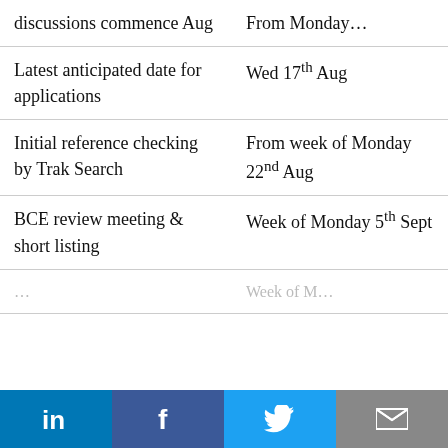| discussions commence Aug | From Monday… |
| Latest anticipated date for applications | Wed 17th Aug |
| Initial reference checking by Trak Search | From week of Monday 22nd Aug |
| BCE review meeting & short listing | Week of Monday 5th Sept |
Social share bar: LinkedIn, Facebook, Twitter, Email